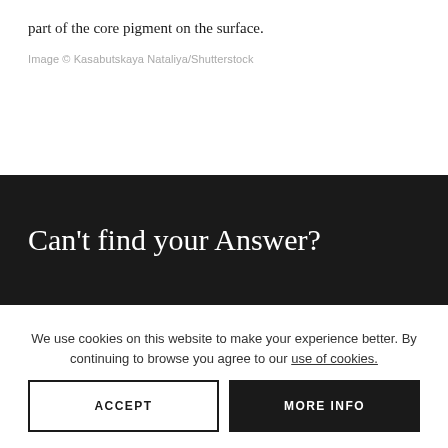part of the core pigment on the surface.
Image © Kasabutskaya Nataliya/Shutterstock
Can't find your Answer?
We use cookies on this website to make your experience better. By continuing to browse you agree to our use of cookies.
ACCEPT
MORE INFO